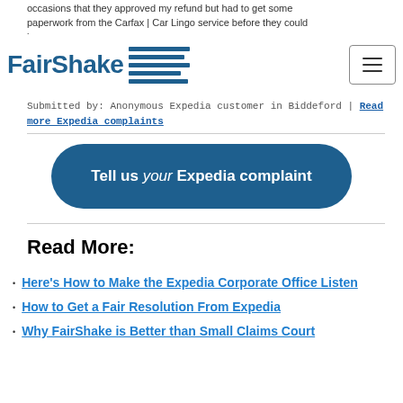occasions that they approved my refund but had to get some paperwork from the Carfax | Car Lingo service before they could issue what they promised to do.
FairShake [logo]
Submitted by: Anonymous Expedia customer in Biddeford | Read more Expedia complaints
[Figure (other): Dark teal rounded rectangle button with white text: 'Tell us your Expedia complaint']
Read More:
Here's How to Make the Expedia Corporate Office Listen
How to Get a Fair Resolution From Expedia
Why FairShake is Better than Small Claims Court